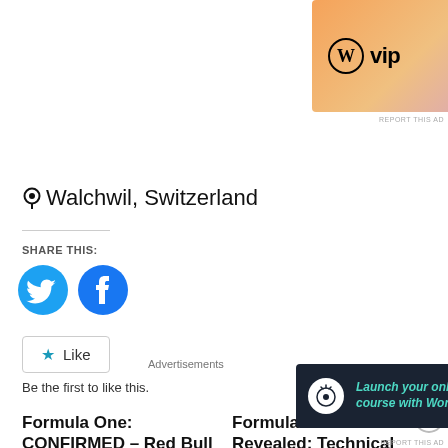[Figure (screenshot): WordPress VIP advertisement banner with orange/purple gradient background, WordPress logo, and 'Learn more →' button]
REPORT THIS AD
📍 Walchwil, Switzerland
SHARE THIS:
[Figure (logo): Twitter (bird) social share circle button in blue]
[Figure (logo): Facebook social share circle button in blue]
★ Like
Be the first to like this.
Formula One: CONFIRMED – Red Bull TAG Heuer with Ilmor support
Formula One: Revealed: Technical requirements of Formula One's Alternative
Advertisements
[Figure (screenshot): Dark banner ad: Launch your online course with WordPress, Learn More button]